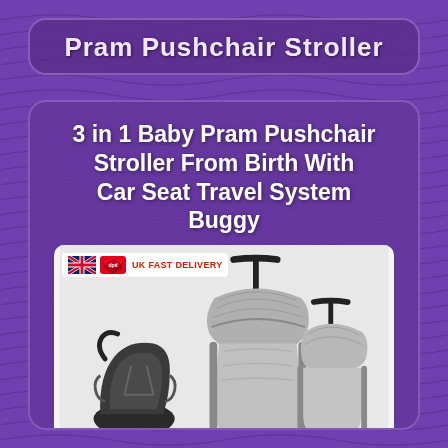Pram Pushchair Stroller
3 in 1 Baby Pram Pushchair Stroller From Birth With Car Seat Travel System Buggy
[Figure (photo): Product photo showing a 3-in-1 baby pram pushchair stroller travel system in grey/silver, displaying car seat, pushchair, and pram bassinet configurations, with UK Fast Delivery badge featuring UK flag and DPD logo]